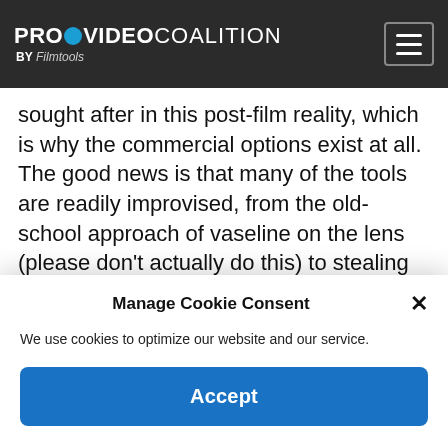PRO VIDEO COALITION BY Filmtools
sought after in this post-film reality, which is why the commercial options exist at all. The good news is that many of the tools are readily improvised, from the old-school approach of vaseline on the lens (please don't actually do this) to stealing the lid from a crystal decanter (do this, but put an upturned glass over it in the meantime). It's possible to buy precision optical flats onto which things can be mounted, but
Manage Cookie Consent
We use cookies to optimize our website and our service.
Accept